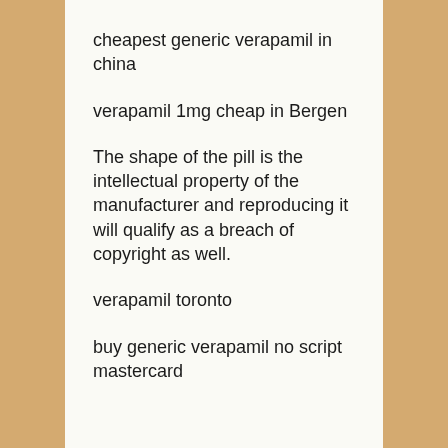cheapest generic verapamil in china
verapamil 1mg cheap in Bergen
The shape of the pill is the intellectual property of the manufacturer and reproducing it will qualify as a breach of copyright as well.
verapamil toronto
buy generic verapamil no script mastercard